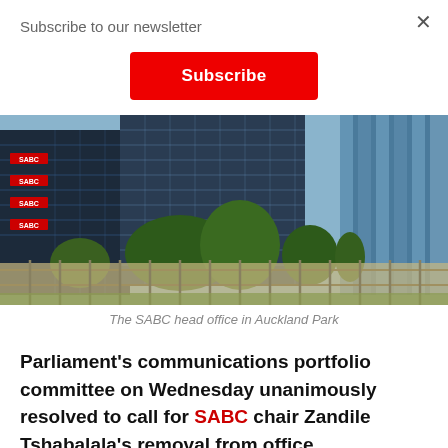Subscribe to our newsletter
Subscribe
[Figure (photo): The SABC head office building in Auckland Park, showing the multi-storey office complex with SABC signage, a fence in the foreground, and trees.]
The SABC head office in Auckland Park
Parliament's communications portfolio committee on Wednesday unanimously resolved to call for SABC chair Zandile Tshabalala's removal from office.